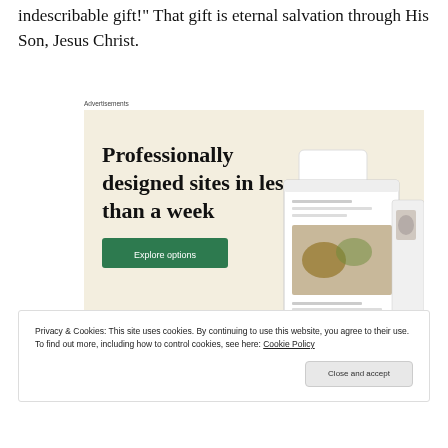indescribable gift!" That gift is eternal salvation through His Son, Jesus Christ.
[Figure (screenshot): Web advertisement for professionally designed websites. Beige background with bold serif text reading 'Professionally designed sites in less than a week', a green 'Explore options' button, and mockup screenshots of websites on the right.]
Privacy & Cookies: This site uses cookies. By continuing to use this website, you agree to their use.
To find out more, including how to control cookies, see here: Cookie Policy